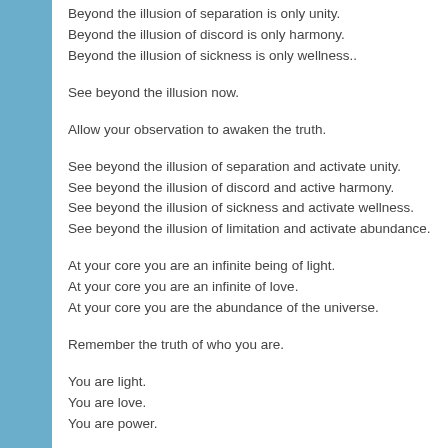Beyond the illusion of separation is only unity.
Beyond the illusion of discord is only harmony.
Beyond the illusion of sickness is only wellness..
See beyond the illusion now.
Allow your observation to awaken the truth.
See beyond the illusion of separation and activate unity.
See beyond the illusion of discord and active harmony.
See beyond the illusion of sickness and activate wellness.
See beyond the illusion of limitation and activate abundance.
At your core you are an infinite being of light.
At your core you are an infinite of love.
At your core you are the abundance of the universe.
Remember the truth of who you are.
You are light.
You are love.
You are power.